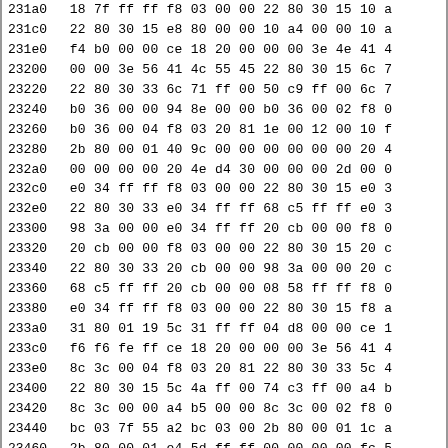| Address | Hex bytes (partial) |
| --- | --- |
| 231a0 | 18 7f ff ff f8 03 00 00 22 80 30 15 10 a |
| 231c0 | 22 80 30 15 e8 80 00 00 10 a4 00 00 10 a |
| 231e0 | f4 b0 00 00 ce 18 20 00 00 00 3e 4e 41 4 |
| 23200 | 00 00 3e 56 41 4c 55 45 22 80 30 15 6c 7 |
| 23220 | 22 80 30 33 6c 71 ff 00 50 c9 ff 00 6c 7 |
| 23240 | b0 36 00 00 94 8e 00 00 b0 36 00 02 f8 0 |
| 23260 | b0 36 00 04 f8 03 20 81 1e 00 12 00 10 f |
| 23280 | 2b 80 00 01 40 9c 00 00 00 00 00 00 20 4 |
| 232a0 | 00 00 00 00 20 4e d4 30 00 00 00 2d 00 0 |
| 232c0 | e0 34 ff ff f8 03 00 00 22 80 30 15 e0 3 |
| 232e0 | 22 80 30 33 e0 34 ff ff 68 c5 ff ff e0 3 |
| 23300 | 98 3a 00 00 e0 34 ff ff 20 cb 00 00 f8 0 |
| 23320 | 20 cb 00 00 f8 03 00 00 22 80 30 15 20 c |
| 23340 | 22 80 30 33 20 cb 00 00 98 3a 00 00 20 c |
| 23360 | 68 c5 ff ff 20 cb 00 00 08 58 ff ff f8 0 |
| 23380 | e0 34 ff ff f8 03 00 00 22 80 30 15 f8 a |
| 233a0 | 31 80 01 19 5c 31 ff ff 04 d8 00 00 ce 1 |
| 233c0 | f6 f6 fe ff ce 18 20 00 00 00 3e 56 41 4 |
| 233e0 | 8c 3c 00 04 f8 03 20 81 22 80 30 33 5c 4 |
| 23400 | 22 80 30 15 5c 4a ff 00 74 c3 ff 00 a4 b |
| 23420 | 8c 3c 00 00 a4 b5 00 00 8c 3c 00 02 f8 0 |
| 23440 | bc 03 7f 55 a2 bc 03 00 2b 80 00 01 1c a |
| 23460 | 2b 80 00 01 e4 5d ff ff 00 00 00 00 fc 5 |
| 23480 | e0 34 ff ff e0 34 ff ff e0 34 ff ff f8 0 |
| 234a0 | 68 c5 ff ff f8 03 00 00 22 80 30 33 e0 3 |
| 234c0 | 22 80 30 15 e0 34 ff ff 98 3a 00 00 e0 3 |
| 234e0 | 20 cb 00 00 f8 a7 00 00 20 cb 00 00 f8 0 |
| 23500 | 98 3a 00 00 f8 03 00 00 22 80 30 33 20 c |
| 23520 | 22 80 30 15 20 cb 00 00 68 c5 ff ff 20 c |
| 23540 | 08 58 ff ff f8 a7 00 00 e0 34 ff ff f8 0 |
| 23560 | 59 7  00 00 f8 00 00 00 84 00 04 40 f0 |